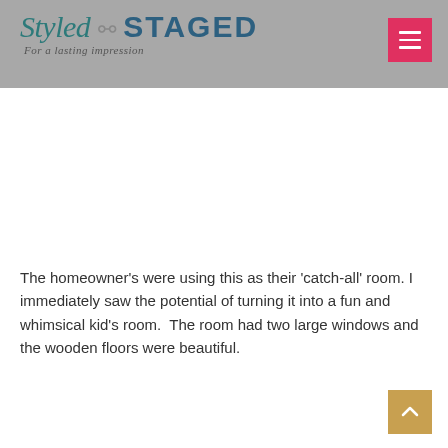Styled & STAGED — For a lasting impression
The homeowner's were using this as their 'catch-all' room. I immediately saw the potential of turning it into a fun and whimsical kid's room.  The room had two large windows and the wooden floors were beautiful.